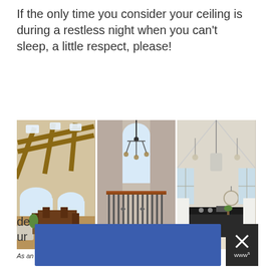If the only time you consider your ceiling is during a restless night when you can't sleep, a little respect, please!
[Figure (photo): Three interior home photos side by side showing impressive high ceilings: left photo shows an open plan room with wood beam cathedral ceiling and skylights and arched windows; middle photo shows a staircase landing with a chandelier and arched window; right photo shows a modern kitchen with a vaulted white ceiling and pendant lights.]
As an Amazon Associate I earn from qualifying purchases.
This area of your home represents the last line of de...